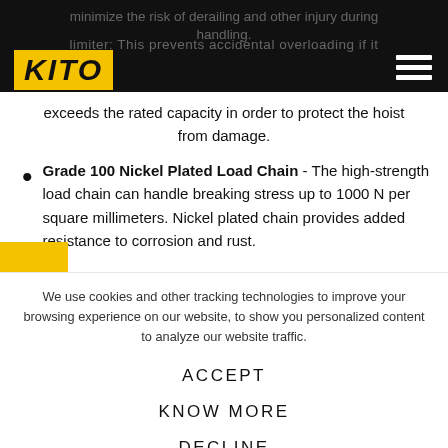KITO [logo] — navigation header bar
exceeds the rated capacity in order to protect the hoist from damage.
Grade 100 Nickel Plated Load Chain - The high-strength load chain can handle breaking stress up to 1000 N per square millimeters. Nickel plated chain provides added resistance to corrosion and rust.
We use cookies and other tracking technologies to improve your browsing experience on our website, to show you personalized content to analyze our website traffic.
ACCEPT
KNOW MORE
DECLINE